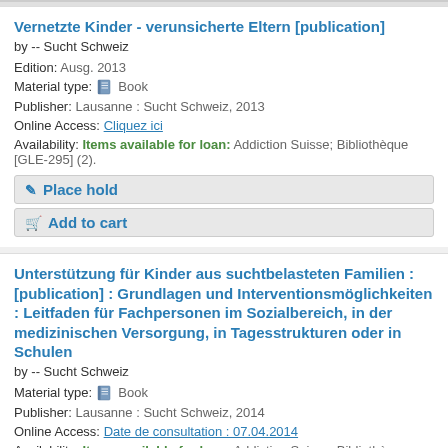Vernetzte Kinder - verunsicherte Eltern [publication]
by -- Sucht Schweiz
Edition: Ausg. 2013
Material type: Book
Publisher: Lausanne : Sucht Schweiz, 2013
Online Access: Cliquez ici
Availability: Items available for loan: Addiction Suisse; Bibliothèque [GLE-295] (2).
Place hold
Add to cart
Unterstützung für Kinder aus suchtbelasteten Familien : [publication] : Grundlagen und Interventionsmöglichkeiten : Leitfaden für Fachpersonen im Sozialbereich, in der medizinischen Versorgung, in Tagesstrukturen oder in Schulen
by -- Sucht Schweiz
Material type: Book
Publisher: Lausanne : Sucht Schweiz, 2014
Online Access: Date de consultation : 07.04.2014
Availability: Items available for loan: Addiction Suisse; Bibliothèque [GLE-43] (1).